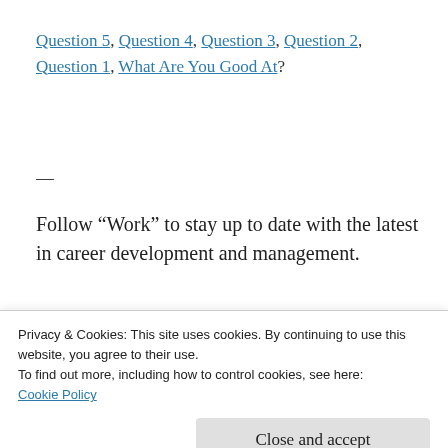Question 5, Question 4, Question 3, Question 2, Question 1, What Are You Good At?
—
Follow “Work” to stay up to date with the latest in career development and management.
Bill Florin is a Certified Professional Résumé Writer and Certified Employment Interview...
Privacy & Cookies: This site uses cookies. By continuing to use this website, you agree to their use.
To find out more, including how to control cookies, see here:
Cookie Policy
Close and accept
Bill Florin / February 11, 2013 / career, career